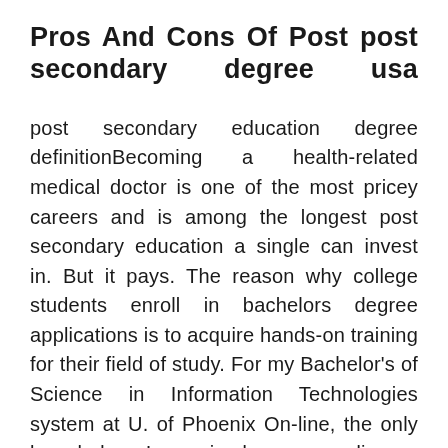Pros And Cons Of Post post secondary degree usa
post secondary education degree definitionBecoming a health-related medical doctor is one of the most pricey careers and is among the longest post secondary education a single can invest in. But it pays. The reason why college students enroll in bachelors degree applications is to acquire hands-on training for their field of study. For my Bachelor's of Science in Information Technologies system at U. of Phoenix On-line, the only knowledge I received was reading a handful of chapters of one course textbook, kind papers, and